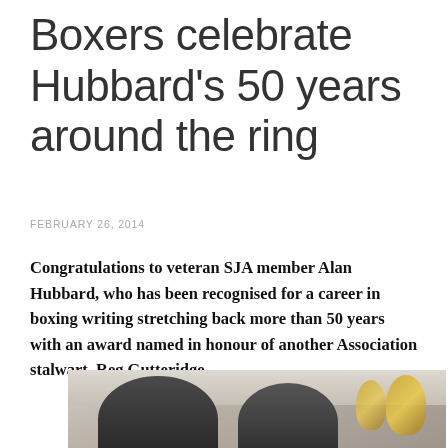Boxers celebrate Hubbard's 50 years around the ring
FEBRUARY 26, 2014
Congratulations to veteran SJA member Alan Hubbard, who has been recognised for a career in boxing writing stretching back more than 50 years with an award named in honour of another Association stalwart, Reg Gutteridge.
[Figure (photo): Two men smiling at an event, with gold balloon decorations visible in the background]